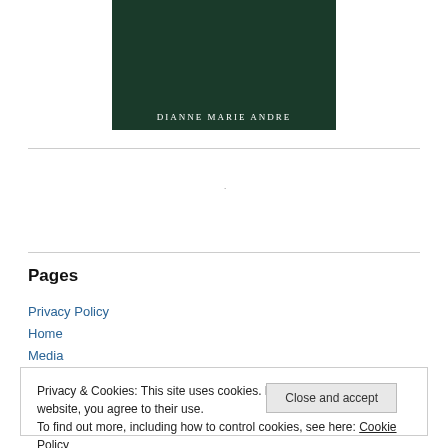[Figure (illustration): Book cover image with dark green/forest background showing 'DIANNE MARIE ANDRE' author name in white serif lettering at the bottom]
Pages
Privacy Policy
Home
Media
Privacy & Cookies: This site uses cookies. By continuing to use this website, you agree to their use.
To find out more, including how to control cookies, see here: Cookie Policy
Close and accept